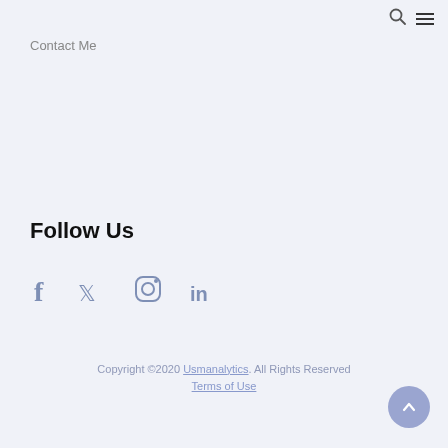Contact Me
Follow Us
[Figure (infographic): Social media icons: Facebook (f), Twitter (bird), Instagram (camera outline), LinkedIn (in)]
Copyright ©2020 Usmanalytics. All Rights Reserved
Terms of Use